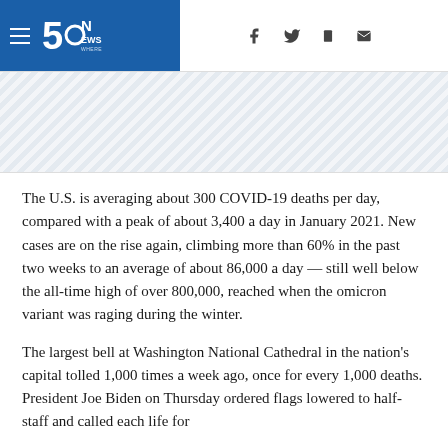5 News WHERE YOU LIVE
[Figure (other): Diagonal-striped advertisement/banner placeholder area]
The U.S. is averaging about 300 COVID-19 deaths per day, compared with a peak of about 3,400 a day in January 2021. New cases are on the rise again, climbing more than 60% in the past two weeks to an average of about 86,000 a day — still well below the all-time high of over 800,000, reached when the omicron variant was raging during the winter.
The largest bell at Washington National Cathedral in the nation's capital tolled 1,000 times a week ago, once for every 1,000 deaths. President Joe Biden on Thursday ordered flags lowered to half-staff and called each life for